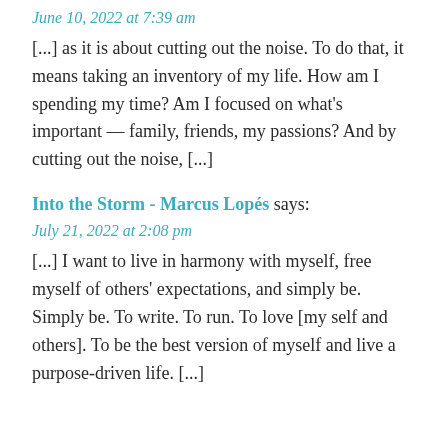June 10, 2022 at 7:39 am
[...] as it is about cutting out the noise. To do that, it means taking an inventory of my life. How am I spending my time? Am I focused on what’s important — family, friends, my passions? And by cutting out the noise, [...]
Into the Storm - Marcus Lopés says:
July 21, 2022 at 2:08 pm
[...] I want to live in harmony with myself, free myself of others’ expectations, and simply be. Simply be. To write. To run. To love [my self and others]. To be the best version of myself and live a purpose-driven life. [...]